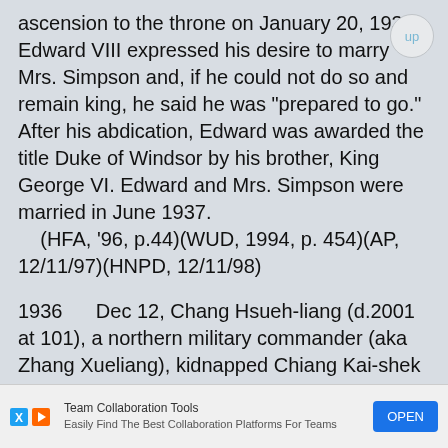ascension to the throne on January 20, 1936, Edward VIII expressed his desire to marry Mrs. Simpson and, if he could not do so and remain king, he said he was "prepared to go." After his abdication, Edward was awarded the title Duke of Windsor by his brother, King George VI. Edward and Mrs. Simpson were married in June 1937.
    (HFA, '96, p.44)(WUD, 1994, p. 454)(AP, 12/11/97)(HNPD, 12/11/98)
1936      Dec 12, Chang Hsueh-liang (d.2001 at 101), a northern military commander (aka Zhang Xueliang), kidnapped Chiang Kai-shek to force him into an alliance to repel Japanese forces. The Xi'an incident coup ended after 2 weeks. The incident led the Nationalists and the Communists to make peace so that the two could form a united front against the increasing threat posed by Japan. Chang
Team Collaboration Tools
Easily Find The Best Collaboration Platforms For Teams